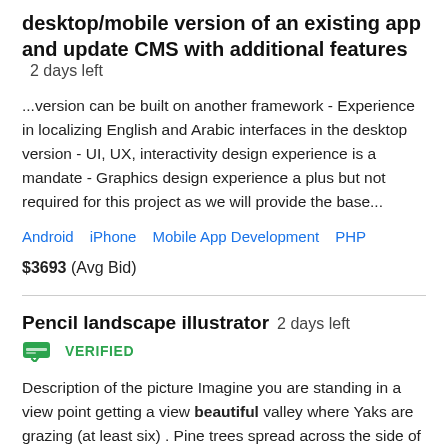desktop/mobile version of an existing app and update CMS with additional features  2 days left
...version can be built on another framework - Experience in localizing English and Arabic interfaces in the desktop version - UI, UX, interactivity design experience is a mandate - Graphics design experience a plus but not required for this project as we will provide the base...
Android   iPhone   Mobile App Development   PHP
$3693  (Avg Bid)
Pencil landscape illustrator  2 days left
VERIFIED
Description of the picture Imagine you are standing in a view point getting a view beautiful valley where Yaks are grazing (at least six) . Pine trees spread across the side of the beginning of mountains, in the horizon and some highland of the valley. There is a small mountain river...